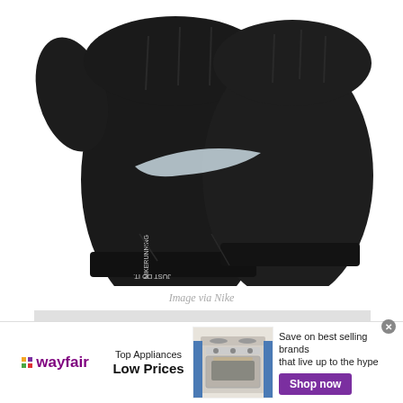[Figure (photo): Two black Nike running gloves displayed palm-side up against white background, showing the Nike swoosh logo and 'JUST DO IT.' text on the wrist area]
Image via Nike
[Figure (other): Gray placeholder rectangle for additional content]
[Figure (other): Wayfair advertisement banner: Top Appliances Low Prices, with Wayfair logo, image of stove/range, and Shop now button in purple. Tagline: Save on best selling brands that live up to the hype]